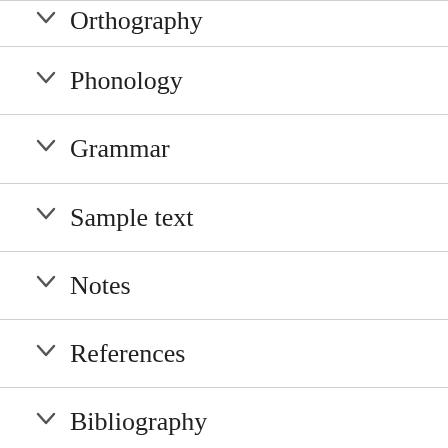Orthography
Phonology
Grammar
Sample text
Notes
References
Bibliography